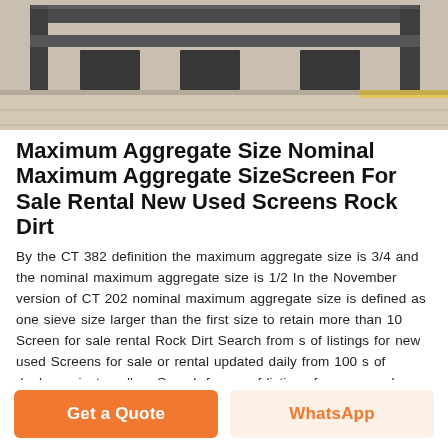[Figure (photo): Industrial metal screen/aggregate equipment structure photographed in a warehouse or facility, showing heavy steel frame components]
Maximum Aggregate Size Nominal Maximum Aggregate SizeScreen For Sale Rental New Used Screens Rock Dirt
By the CT 382 definition the maximum aggregate size is 3/4 and the nominal maximum aggregate size is 1/2 In the November version of CT 202 nominal maximum aggregate size is defined as one sieve size larger than the first size to retain more than 10 Screen for sale rental Rock Dirt Search from s of listings for new used Screens for sale or rental updated daily from 100 s of dealers private sellers Search from s of listings for new used Screens for sale or rental updated daily from 100 s of dealers private sellers